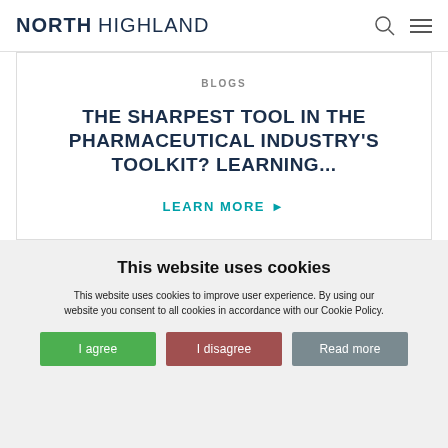NORTH HIGHLAND
BLOGS
THE SHARPEST TOOL IN THE PHARMACEUTICAL INDUSTRY'S TOOLKIT? LEARNING...
LEARN MORE ▶
This website uses cookies
This website uses cookies to improve user experience. By using our website you consent to all cookies in accordance with our Cookie Policy.
I agree | I disagree | Read more